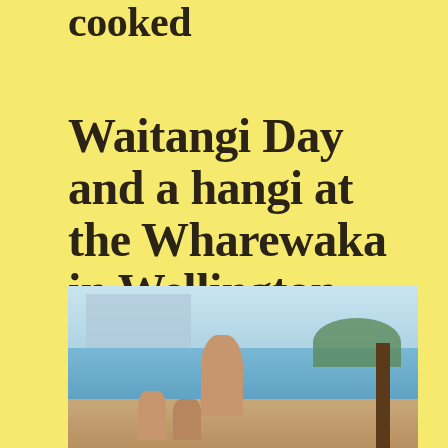cooked
Waitangi Day and a hangi at the Wharewaka in Wellington
[Figure (photo): Outdoor waterfront scene showing people in traditional Māori dress on the waterfront near Wellington harbour, with a building and trees in the background, blue sky and water visible]